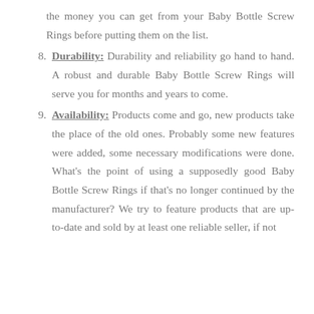the money you can get from your Baby Bottle Screw Rings before putting them on the list.
8. Durability: Durability and reliability go hand to hand. A robust and durable Baby Bottle Screw Rings will serve you for months and years to come.
9. Availability: Products come and go, new products take the place of the old ones. Probably some new features were added, some necessary modifications were done. What’s the point of using a supposedly good Baby Bottle Screw Rings if that’s no longer continued by the manufacturer? We try to feature products that are up-to-date and sold by at least one reliable seller, if not